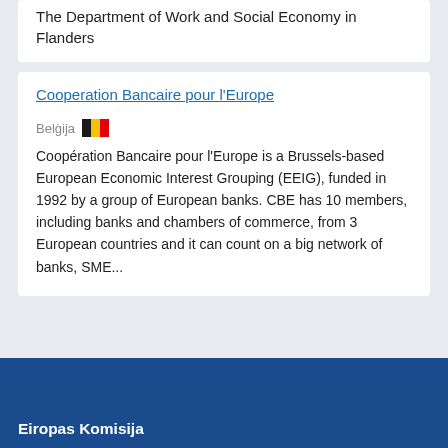The Department of Work and Social Economy in Flanders
Cooperation Bancaire pour l'Europe
Belġija
Coopération Bancaire pour l'Europe is a Brussels-based European Economic Interest Grouping (EEIG), funded in 1992 by a group of European banks. CBE has 10 members, including banks and chambers of commerce, from 3 European countries and it can count on a big network of banks, SME...
Eiropas Komisija